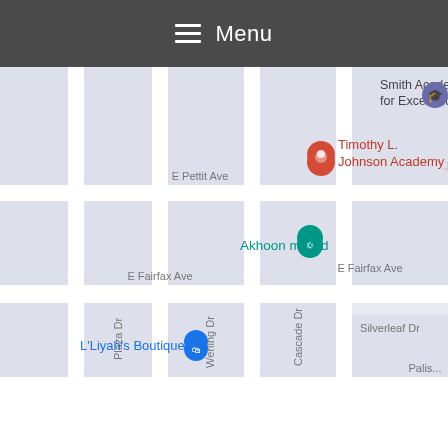Menu
[Figure (map): Google Maps screenshot showing streets around Timothy L. Johnson Academy. Key locations shown: Smith Academy for Excellence (top right), Timothy L. Johnson Academy (center-right, marked with red pin), Akhoon masjid (center, marked with teal pin), L'Liyah's Boutique (bottom-left, marked with blue pin). Streets visible: E Pettit Ave, E Fairfax Ave, Plaza Dr, Werling Dr, Cascade Dr, Silverleaf Dr, Palisade (partial).]